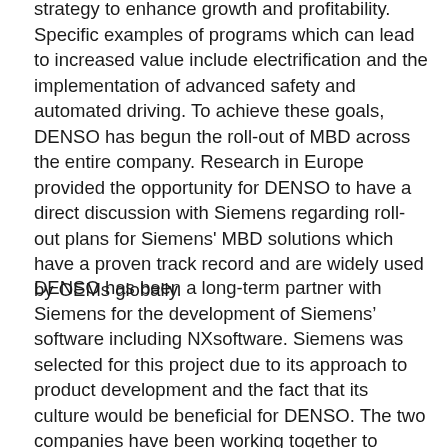strategy to enhance growth and profitability. Specific examples of programs which can lead to increased value include electrification and the implementation of advanced safety and automated driving. To achieve these goals, DENSO has begun the roll-out of MBD across the entire company. Research in Europe provided the opportunity for DENSO to have a direct discussion with Siemens regarding roll-out plans for Siemens' MBD solutions which have a proven track record and are widely used by OEMs globally.
DENSO has been a long-term partner with Siemens for the development of Siemens’ software including NXsoftware. Siemens was selected for this project due to its approach to product development and the fact that its culture would be beneficial for DENSO. The two companies have been working together to develop solutions based on their aligned strategies, with DENSO submitting requests to Siemens for MBD that are implemented as standard functions of Siemens solutions. DENSO is aware the